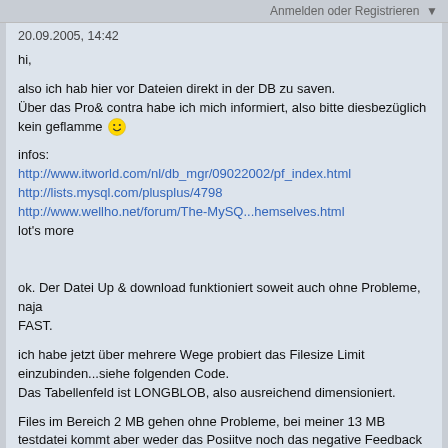Anmelden oder Registrieren ▼
20.09.2005, 14:42
hi,

also ich hab hier vor Dateien direkt in der DB zu saven.
Über das Pro& contra habe ich mich informiert, also bitte diesbezüglich kein geflamme :)

infos:
http://www.itworld.com/nl/db_mgr/09022002/pf_index.html
http://lists.mysql.com/plusplus/4798
http://www.wellho.net/forum/The-MySQ...hemselves.html
lot's more


ok. Der Datei Up & download funktioniert soweit auch ohne Probleme, naja
FAST.

ich habe jetzt über mehrere Wege probiert das Filesize Limit einzubinden...siehe folgenden Code.
Das Tabellenfeld ist LONGBLOB, also ausreichend dimensioniert.

Files im Bereich 2 MB gehen ohne Probleme, bei meiner 13 MB testdatei kommt aber weder das Positive noch das negative Feedback